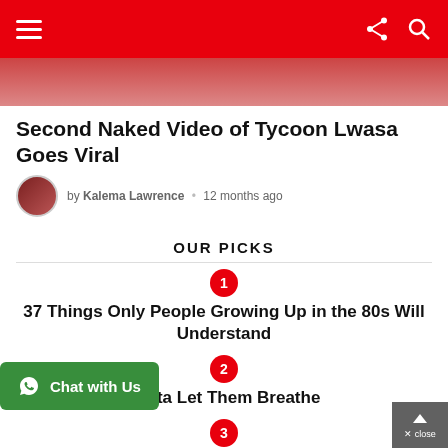Navigation bar with hamburger menu, share and search icons
[Figure (photo): Partial hero image at top of article]
Second Naked Video of Tycoon Lwasa Goes Viral
by Kalema Lawrence • 12 months ago
OUR PICKS
1 — 37 Things Only People Growing Up in the 80s Will Understand
2 — [partial] Gotta Let Them Breathe
3 — (partial, cut off)
[Figure (other): Chat with Us green WhatsApp widget button]
[Figure (other): Scroll to top button with close bar]